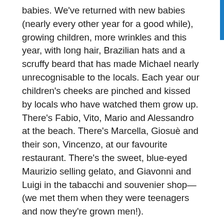babies. We've returned with new babies (nearly every other year for a good while), growing children, more wrinkles and this year, with long hair, Brazilian hats and a scruffy beard that has made Michael nearly unrecognisable to the locals. Each year our children's cheeks are pinched and kissed by locals who have watched them grow up. There's Fabio, Vito, Mario and Alessandro at the beach. There's Marcella, Giosuè and their son, Vincenzo, at our favourite restaurant. There's the sweet, blue-eyed Maurizio selling gelato, and Giavonni and Luigi in the tabacchi and souvenier shop—(we met them when they were teenagers and now they're grown men!).
We've witnessed changes in this little town — upgrades and advancements due to its growing